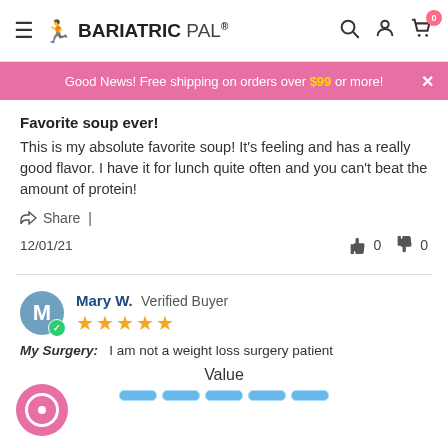BariatricPal® — navigation header with search, account, and cart icons
Good News! Free shipping on orders over $99 or more!
Favorite soup ever!
This is my absolute favorite soup! It's feeling and has a really good flavor. I have it for lunch quite often and you can't beat the amount of protein!
Share |
12/01/21  👍 0  👎 0
Mary W. Verified Buyer ★★★★★  My Surgery: I am not a weight loss surgery patient  Value